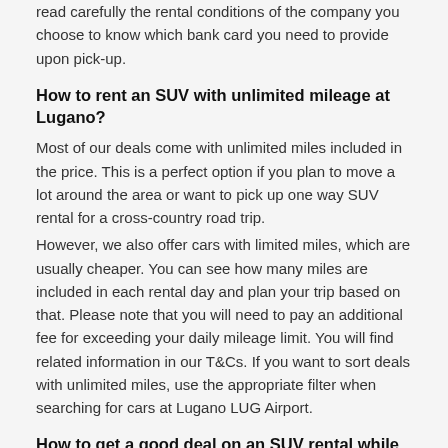read carefully the rental conditions of the company you choose to know which bank card you need to provide upon pick-up.
How to rent an SUV with unlimited mileage at Lugano?
Most of our deals come with unlimited miles included in the price. This is a perfect option if you plan to move a lot around the area or want to pick up one way SUV rental for a cross-country road trip.
However, we also offer cars with limited miles, which are usually cheaper. You can see how many miles are included in each rental day and plan your trip based on that. Please note that you will need to pay an additional fee for exceeding your daily mileage limit. You will find related information in our T&Cs. If you want to sort deals with unlimited miles, use the appropriate filter when searching for cars at Lugano LUG Airport.
How to get a good deal on an SUV rental while traveling from Lugano – Airport?
A deal that suits your interests...